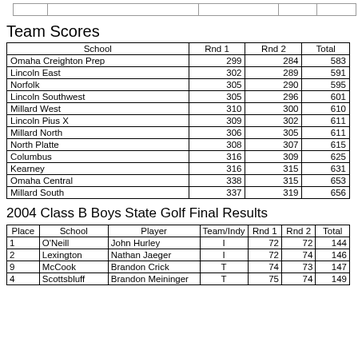|  |  |  |  |  |
| --- | --- | --- | --- | --- |
|  |  |  |  |  |
Team Scores
| School | Rnd 1 | Rnd 2 | Total |
| --- | --- | --- | --- |
| Omaha Creighton Prep | 299 | 284 | 583 |
| Lincoln East | 302 | 289 | 591 |
| Norfolk | 305 | 290 | 595 |
| Lincoln Southwest | 305 | 296 | 601 |
| Millard West | 310 | 300 | 610 |
| Lincoln Pius X | 309 | 302 | 611 |
| Millard North | 306 | 305 | 611 |
| North Platte | 308 | 307 | 615 |
| Columbus | 316 | 309 | 625 |
| Kearney | 316 | 315 | 631 |
| Omaha Central | 338 | 315 | 653 |
| Millard South | 337 | 319 | 656 |
2004 Class B Boys State Golf Final Results
| Place | School | Player | Team/Indy | Rnd 1 | Rnd 2 | Total |
| --- | --- | --- | --- | --- | --- | --- |
| 1 | O'Neill | John Hurley | I | 72 | 72 | 144 |
| 2 | Lexington | Nathan Jaeger | I | 72 | 74 | 146 |
| 9 | McCook | Brandon Crick | T | 74 | 73 | 147 |
| 4 | Scottsbluff | Brandon Meininger | T | 75 | 74 | 149 |